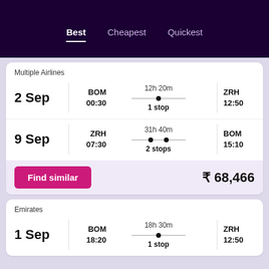Best | Cheapest | Quickest
Multiple Airlines
2 Sep | BOM 00:30 | 12h 20m 1 stop | ZRH 12:50
9 Sep | ZRH 07:30 | 31h 40m 2 stops | BOM 15:10
Find similar | ₹ 68,466
Emirates
1 Sep | BOM 18:20 | 18h 30m 1 stop | ZRH 12:50